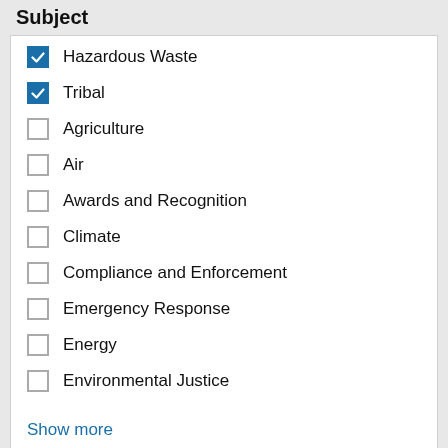Subject
Hazardous Waste (checked)
Tribal (checked)
Agriculture (unchecked)
Air (unchecked)
Awards and Recognition (unchecked)
Climate (unchecked)
Compliance and Enforcement (unchecked)
Emergency Response (unchecked)
Energy (unchecked)
Environmental Justice (unchecked)
Show more